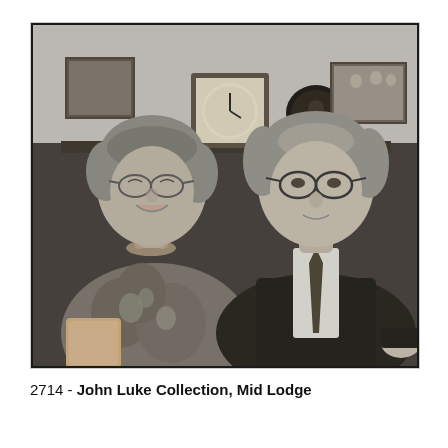[Figure (photo): Black and white photograph of an older couple sitting together indoors. A woman on the left wearing glasses and a floral dress is smiling. A man on the right wearing glasses, a dark suit, white shirt, and tie is smiling. Behind them is a dark wooden cabinet or sideboard with a mantle clock and other objects on top. On the walls are framed pictures. The image has a 1960s–1970s era style.]
2714 - John Luke Collection, Mid Lodge